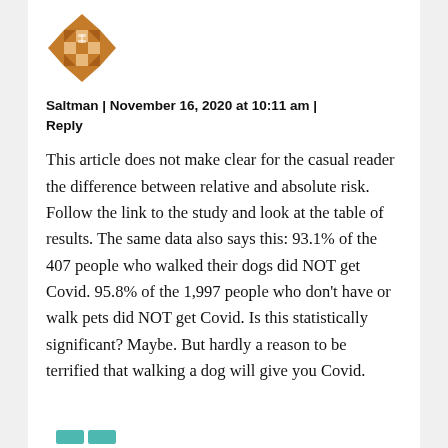[Figure (illustration): Geometric quilt-pattern avatar in brown/tan colors]
Saltman | November 16, 2020 at 10:11 am | Reply
This article does not make clear for the casual reader the difference between relative and absolute risk. Follow the link to the study and look at the table of results. The same data also says this: 93.1% of the 407 people who walked their dogs did NOT get Covid. 95.8% of the 1,997 people who don't have or walk pets did NOT get Covid. Is this statistically significant? Maybe. But hardly a reason to be terrified that walking a dog will give you Covid.